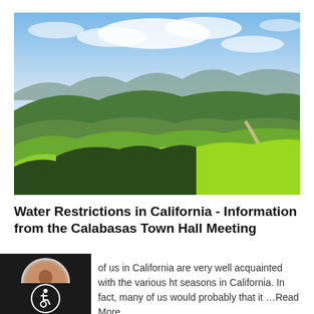[Figure (photo): Aerial landscape photo of green rolling hills and a California suburban city with a bay or lake in the background under a partly cloudy blue sky. A winding path cuts through the hills.]
Water Restrictions in California - Information from the Calabasas Town Hall Meeting
of us in California are very well acquainted with the various ht seasons in California. In fact, many of us would probably that it …Read More